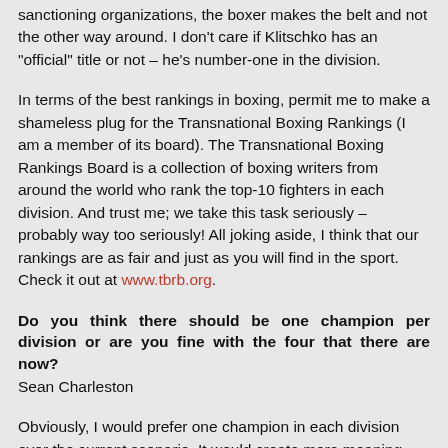sanctioning organizations, the boxer makes the belt and not the other way around. I don't care if Klitschko has an "official" title or not – he's number-one in the division.
In terms of the best rankings in boxing, permit me to make a shameless plug for the Transnational Boxing Rankings (I am a member of its board). The Transnational Boxing Rankings Board is a collection of boxing writers from around the world who rank the top-10 fighters in each division. And trust me; we take this task seriously – probably way too seriously! All joking aside, I think that our rankings are as fair and just as you will find in the sport. Check it out at www.tbrb.org.
Do you think there should be one champion per division or are you fine with the four that there are now?
Sean Charleston
Obviously, I would prefer one champion in each division over the current scenario. It would create more meaning within boxing, which would provide clarification for fans and make the sport easier to understand for those who are less familiar with it. One champion would be a great way to help grow the